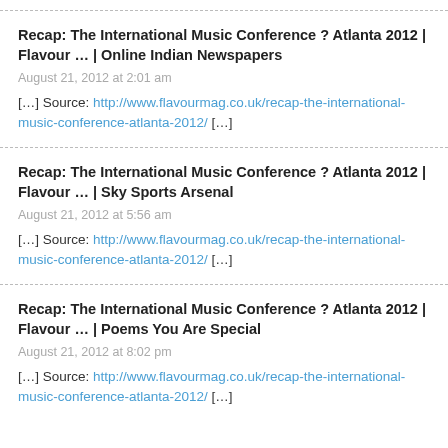Recap: The International Music Conference ? Atlanta 2012 | Flavour ... | Online Indian Newspapers
August 21, 2012 at 2:01 am
[…] Source: http://www.flavourmag.co.uk/recap-the-international-music-conference-atlanta-2012/ […]
Recap: The International Music Conference ? Atlanta 2012 | Flavour ... | Sky Sports Arsenal
August 21, 2012 at 5:56 am
[…] Source: http://www.flavourmag.co.uk/recap-the-international-music-conference-atlanta-2012/ […]
Recap: The International Music Conference ? Atlanta 2012 | Flavour ... | Poems You Are Special
August 21, 2012 at 8:02 pm
[…] Source: http://www.flavourmag.co.uk/recap-the-international-music-conference-atlanta-2012/ […]